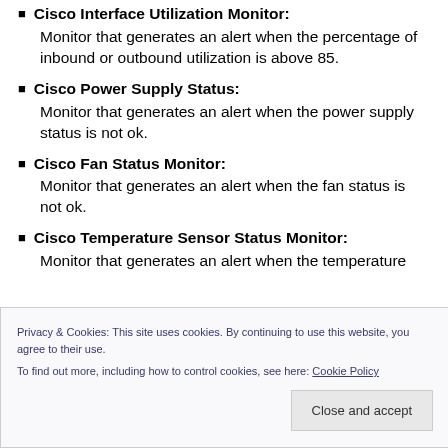Cisco Interface Utilization Monitor: Monitor that generates an alert when the percentage of inbound or outbound utilization is above 85.
Cisco Power Supply Status: Monitor that generates an alert when the power supply status is not ok.
Cisco Fan Status Monitor: Monitor that generates an alert when the fan status is not ok.
Cisco Temperature Sensor Status Monitor: Monitor that generates an alert when the temperature
Privacy & Cookies: This site uses cookies. By continuing to use this website, you agree to their use. To find out more, including how to control cookies, see here: Cookie Policy